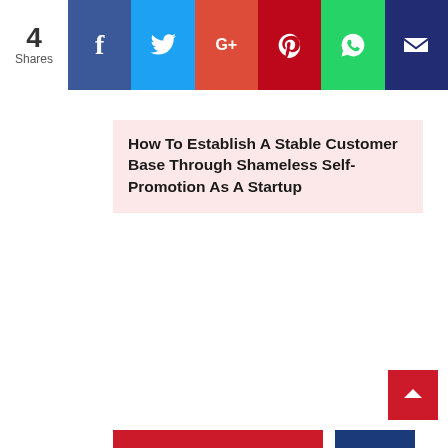[Figure (screenshot): Social share bar with share count '4 Shares' on the left, followed by six colored social media buttons: Facebook (dark blue), Twitter (light blue), Google+ (red-orange), Pinterest (dark red), WhatsApp (green), and email/crown (dark blue)]
How To Establish A Stable Customer Base Through Shameless Self-Promotion As A Startup